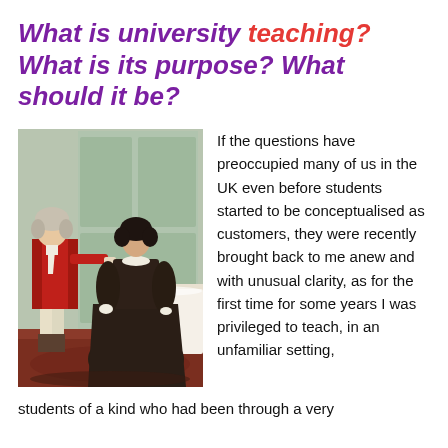What is university teaching? What is its purpose? What should it be?
[Figure (illustration): A historical oil painting depicting a man in an 18th-century red military coat and a woman in a dark Victorian dress, standing in an interior setting with a table and glassware visible.]
If the questions have preoccupied many of us in the UK even before students started to be conceptualised as customers, they were recently brought back to me anew and with unusual clarity, as for the first time for some years I was privileged to teach, in an unfamiliar setting, students of a kind who had been through a very different educational experience than our own.